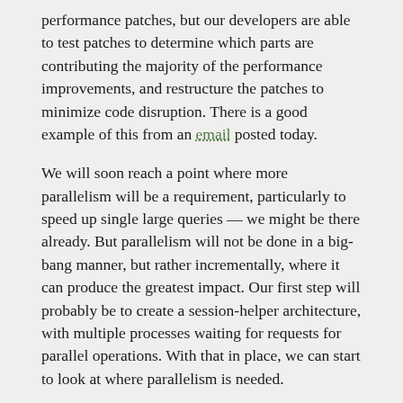performance patches, but our developers are able to test patches to determine which parts are contributing the majority of the performance improvements, and restructure the patches to minimize code disruption. There is a good example of this from an email posted today.
We will soon reach a point where more parallelism will be a requirement, particularly to speed up single large queries — we might be there already. But parallelism will not be done in a big-bang manner, but rather incrementally, where it can produce the greatest impact. Our first step will probably be to create a session-helper architecture, with multiple processes waiting for requests for parallel operations. With that in place, we can start to look at where parallelism is needed.
For a really interesting use of database parallelism, look at Tim Child's PostgreSQL OpenCL Procedural Language. It shows a server-side language designed to allow parallel operations on graphics CPUs (GPU). That is just one possible example of where the multi-year effort of parallelism might take us.